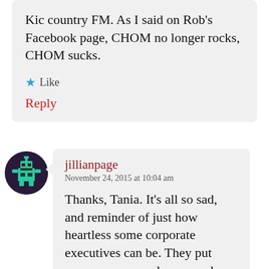Kic country FM. As I said on Rob's Facebook page, CHOM no longer rocks, CHOM sucks.
★ Like
Reply
[Figure (illustration): Circular avatar with dark purple background showing a pixel-art robot/character icon in teal/green]
jillianpage
November 24, 2015 at 10:04 am
Thanks, Tania. It's all so sad, and reminder of just how heartless some corporate executives can be. They put money over people, even when they are already making fat profits. It h...